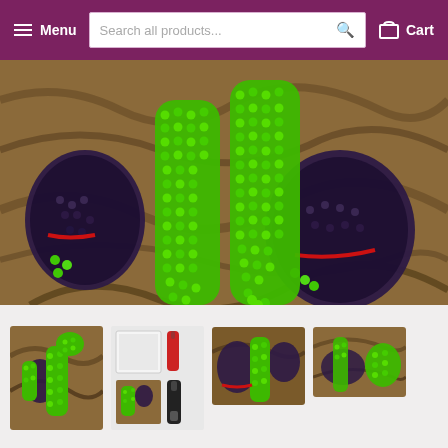Menu  Search all products...  Cart
[Figure (photo): Close-up of a Hulk diamond painting art, showing the green Hulk character made of round beads/gems with purple torn pants, on a rocky brown background.]
[Figure (photo): Thumbnail 1: Full Hulk diamond painting showing green Hulk crouching on rocks with purple pants]
[Figure (photo): Thumbnail 2: Diamond painting kit contents showing canvas, tools and accessories]
[Figure (photo): Thumbnail 3: Closer view of Hulk diamond painting artwork]
[Figure (photo): Thumbnail 4: Another angle of Hulk diamond painting artwork]